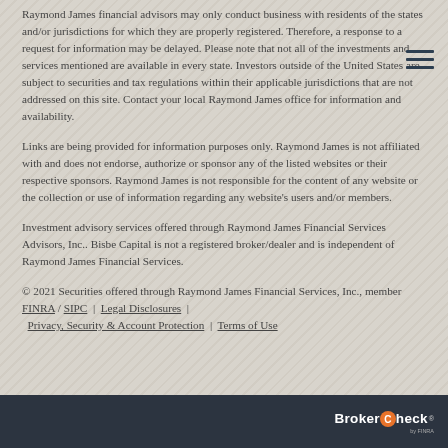Raymond James financial advisors may only conduct business with residents of the states and/or jurisdictions for which they are properly registered. Therefore, a response to a request for information may be delayed. Please note that not all of the investments and services mentioned are available in every state. Investors outside of the United States are subject to securities and tax regulations within their applicable jurisdictions that are not addressed on this site. Contact your local Raymond James office for information and availability.
Links are being provided for information purposes only. Raymond James is not affiliated with and does not endorse, authorize or sponsor any of the listed websites or their respective sponsors. Raymond James is not responsible for the content of any website or the collection or use of information regarding any website's users and/or members.
Investment advisory services offered through Raymond James Financial Services Advisors, Inc.. Bisbe Capital is not a registered broker/dealer and is independent of Raymond James Financial Services.
© 2021 Securities offered through Raymond James Financial Services, Inc., member FINRA / SIPC | Legal Disclosures | Privacy, Security & Account Protection | Terms of Use
[Figure (logo): BrokerCheck logo by FINRA in white on dark background]